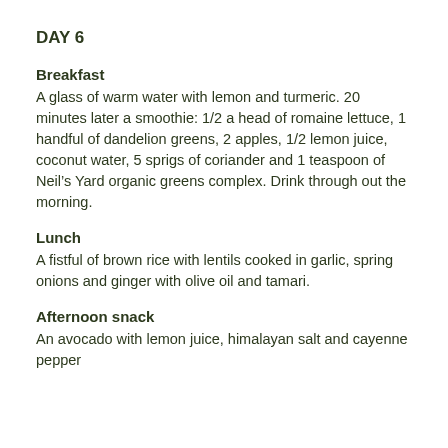DAY 6
Breakfast
A glass of warm water with lemon and turmeric. 20 minutes later a smoothie: 1/2 a head of romaine lettuce, 1 handful of dandelion greens, 2 apples, 1/2 lemon juice, coconut water, 5 sprigs of coriander and 1 teaspoon of Neil’s Yard organic greens complex. Drink through out the morning.
Lunch
A fistful of brown rice with lentils cooked in garlic, spring onions and ginger with olive oil and tamari.
Afternoon snack
An avocado with lemon juice, himalayan salt and cayenne pepper